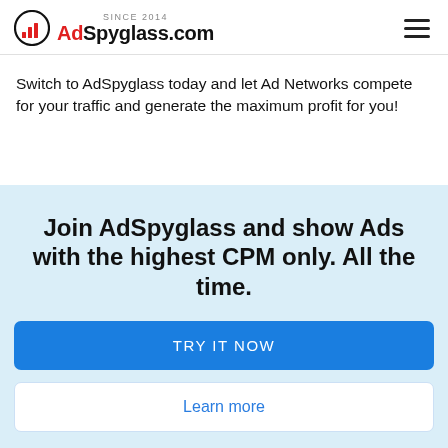SINCE 2014 AdSpyglass.com
Switch to AdSpyglass today and let Ad Networks compete for your traffic and generate the maximum profit for you!
Join AdSpyglass and show Ads with the highest CPM only. All the time.
TRY IT NOW
Learn more